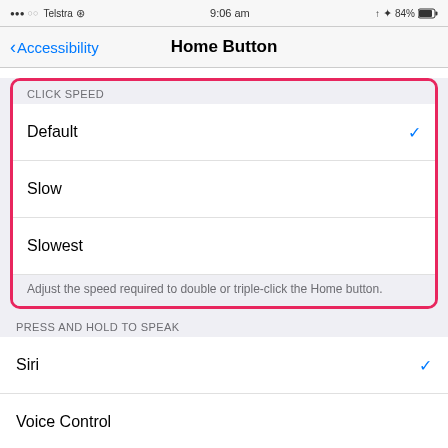[Figure (screenshot): iOS iPhone status bar showing signal dots, Telstra carrier, WiFi icon, time 9:06 am, arrow, Bluetooth icon, 84% battery]
[Figure (screenshot): iOS navigation bar with back arrow linking to Accessibility and title Home Button]
CLICK SPEED
Default (checkmark selected)
Slow
Slowest
Adjust the speed required to double or triple-click the Home button.
PRESS AND HOLD TO SPEAK
Siri (checkmark selected)
Voice Control
Off
Siri will respond when you press and hold the Home button.
Rest Finger to Open (toggle on)